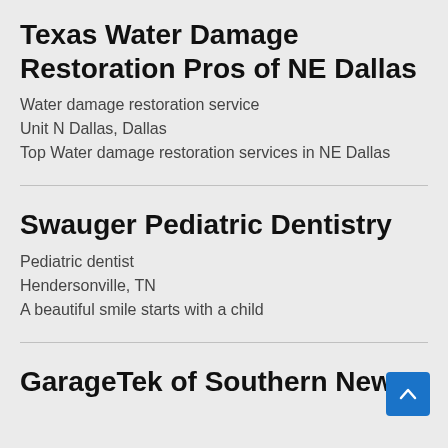Texas Water Damage Restoration Pros of NE Dallas
Water damage restoration service
Unit N Dallas, Dallas
Top Water damage restoration services in NE Dallas
Swauger Pediatric Dentistry
Pediatric dentist
Hendersonville, TN
A beautiful smile starts with a child
GarageTek of Southern New